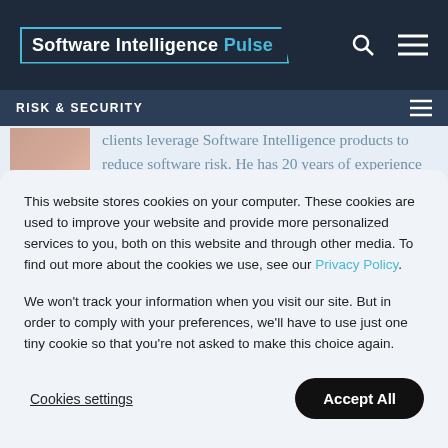Software Intelligence Pulse
RISK & SECURITY
clients leverage Software Intelligence products to reduce software risk. He has 20 years of experience working in the software industry and is a trained software development engineer with expertise in assessing software and
This website stores cookies on your computer. These cookies are used to improve your website and provide more personalized services to you, both on this website and through other media. To find out more about the cookies we use, see our Privacy Policy.

We won't track your information when you visit our site. But in order to comply with your preferences, we'll have to use just one tiny cookie so that you're not asked to make this choice again.
Cookies settings
Accept All